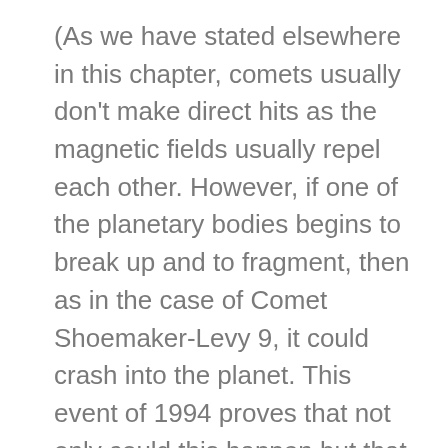(As we have stated elsewhere in this chapter, comets usually don't make direct hits as the magnetic fields usually repel each other. However, if one of the planetary bodies begins to break up and to fragment, then as in the case of Comet Shoemaker-Levy 9, it could crash into the planet. This event of 1994 proves that not only could this happen but that it does happen).
“It has been very hard to convey to the public and to members of Congress that impacts of comets are serious, that